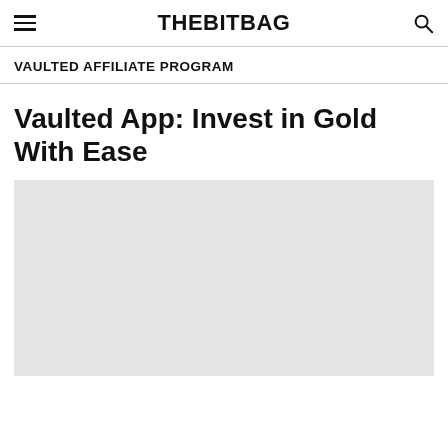THEBITBAG
VAULTED AFFILIATE PROGRAM
Vaulted App: Invest in Gold With Ease
[Figure (photo): Light grey image placeholder for article photo]